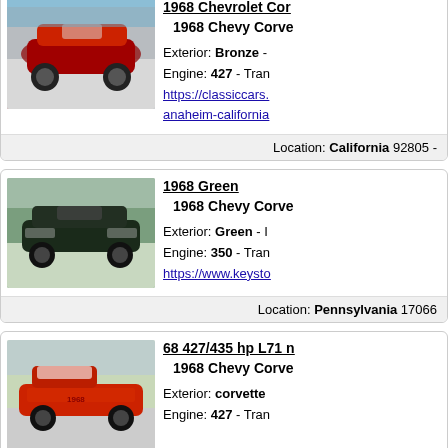[Figure (photo): Red 1968 Chevrolet Corvette convertible parked in a garage driveway]
1968 Chevrolet Cor... | 1968 Chevy Corve... | Exterior: Bronze - | Engine: 427 - Tran... | https://classiccars... anaheim-california...
Location: California 92805 -
[Figure (photo): Dark green 1968 Chevrolet Corvette coupe on grass]
1968 Green | 1968 Chevy Corve... | Exterior: Green - I... | Engine: 350 - Tran... | https://www.keysto...
Location: Pennsylvania 17066...
[Figure (photo): Red 1968 Chevrolet Corvette convertible with white top on a driveway]
68 427/435 hp L71 n... | 1968 Chevy Corve... | Exterior: corvette... | Engine: 427 - Tran...